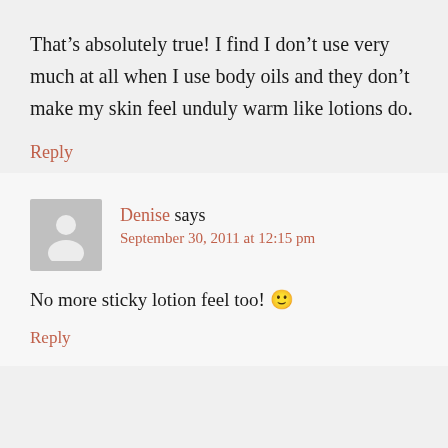That's absolutely true! I find I don't use very much at all when I use body oils and they don't make my skin feel unduly warm like lotions do.
Reply
Denise says
September 30, 2011 at 12:15 pm
No more sticky lotion feel too! 🙂
Reply